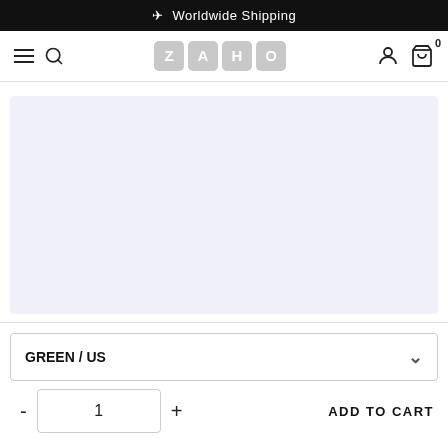✈ Worldwide Shipping
[Figure (logo): ZAHO brand logo with navigation bar including hamburger menu, search icon, user icon, and cart icon with 0 badge]
[Figure (photo): Product image area with light lavender/grey placeholder background]
GREEN / US
- 1 + ADD TO CART